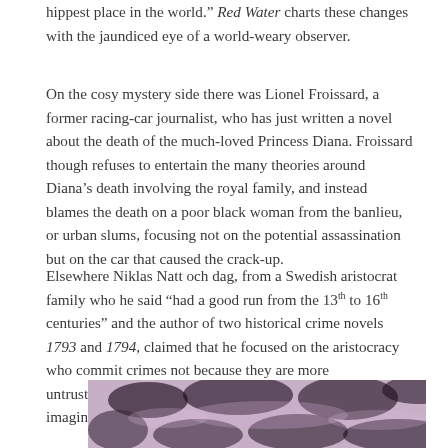hippest place in the world.” Red Water charts these changes with the jaundiced eye of a world-weary observer.
On the cosy mystery side there was Lionel Froissard, a former racing-car journalist, who has just written a novel about the death of the much-loved Princess Diana. Froissard though refuses to entertain the many theories around Diana’s death involving the royal family, and instead blames the death on a poor black woman from the banlieu, or urban slums, focusing not on the potential assassination but on the car that caused the crack-up.
Elsewhere Niklas Natt och dag, from a Swedish aristocrat family who he said “had a good run from the 13th to 16th centuries” and the author of two historical crime novels 1793 and 1794, claimed that he focused on the aristocracy who commit crimes not because they are more untrustworthy than the poor, but because they are more imaginative.
[Figure (photo): A black and white / purple-tinted photograph showing a crowd scene, partially visible at the bottom of the page.]